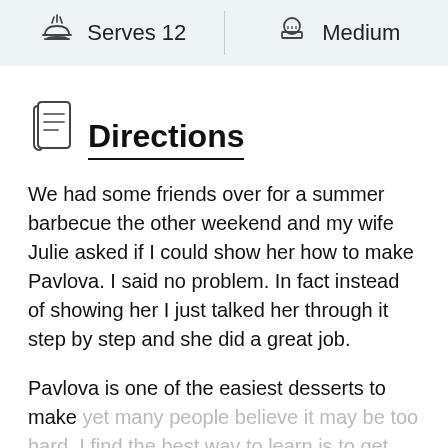Serves 12 | Medium
Directions
We had some friends over for a summer barbecue the other weekend and my wife Julie asked if I could show her how to make Pavlova. I said no problem. In fact instead of showing her I just talked her through it step by step and she did a great job.
Pavlova is one of the easiest desserts to make yet many people believe it may be too hard. I find the best way to learn is to get straight into it.